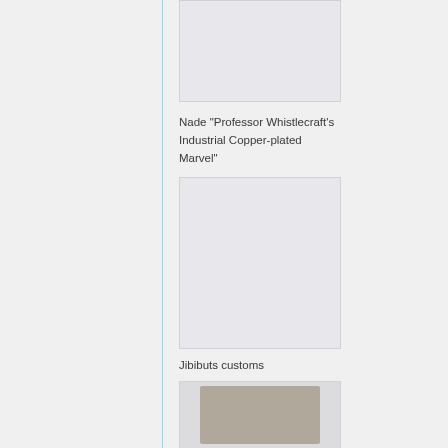[Figure (photo): Placeholder image box at top, partially visible]
Nade "Professor Whistlecraft's Industrial Copper-plated Marvel"
[Figure (photo): Large placeholder image box in middle]
Jibibuts customs
[Figure (photo): Partial photo showing a toy/figurine at bottom]